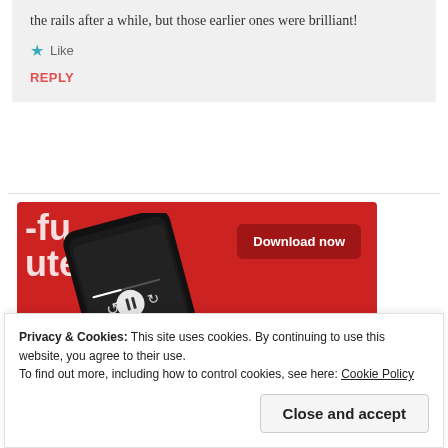the rails after a while, but those earlier ones were brilliant!
★ Like
REPLY
[Figure (screenshot): Advertisement banner with red background showing a smartphone with a podcast app open and a 'Download now' button]
Privacy & Cookies: This site uses cookies. By continuing to use this website, you agree to their use. To find out more, including how to control cookies, see here: Cookie Policy
Close and accept